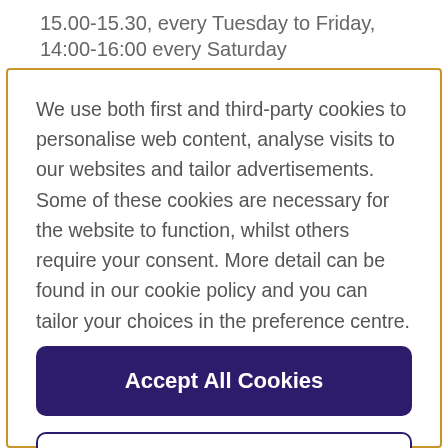15.00-15.30, every Tuesday to Friday, 14:00-16:00 every Saturday
We use both first and third-party cookies to personalise web content, analyse visits to our websites and tailor advertisements. Some of these cookies are necessary for the website to function, whilst others require your consent. More detail can be found in our cookie policy and you can tailor your choices in the preference centre.
Accept All Cookies
Cookies Settings